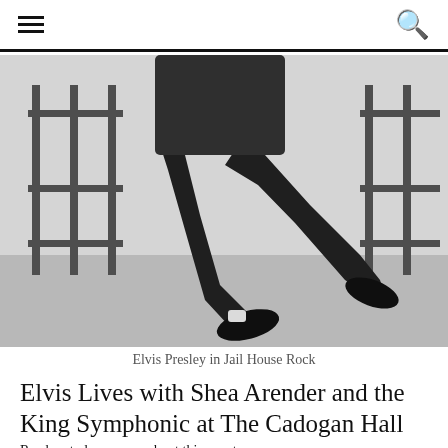≡   🔍
[Figure (photo): Black and white photograph of Elvis Presley dancing mid-air in dark trousers and black shoes, with jail cell bars visible in the background — a scene from Jailhouse Rock]
Elvis Presley in Jail House Rock
Elvis Lives with Shea Arender and the King Symphonic at The Cadogan Hall